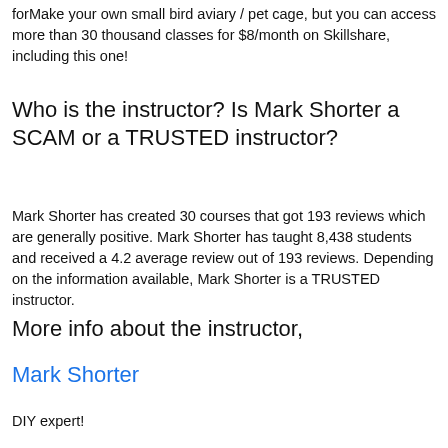forMake your own small bird aviary / pet cage, but you can access more than 30 thousand classes for $8/month on Skillshare, including this one!
Who is the instructor? Is Mark Shorter a SCAM or a TRUSTED instructor?
Mark Shorter has created 30 courses that got 193 reviews which are generally positive. Mark Shorter has taught 8,438 students and received a 4.2 average review out of 193 reviews. Depending on the information available, Mark Shorter is a TRUSTED instructor.
More info about the instructor,
Mark Shorter
DIY expert!